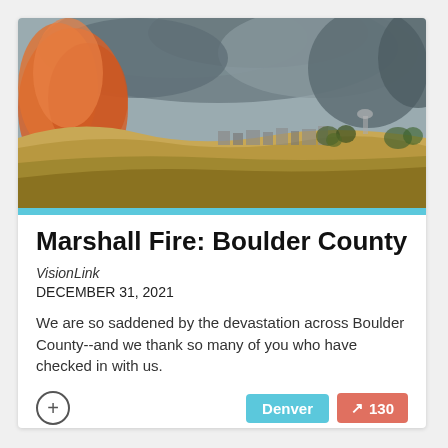[Figure (photo): Wildfire scene showing orange flames and large smoke plumes rising into a grey sky above dry golden grassland hills, with a suburban neighborhood and trees visible in the distance.]
Marshall Fire: Boulder County
VisionLink
DECEMBER 31, 2021
We are so saddened by the devastation across Boulder County--and we thank so many of you who have checked in with us.